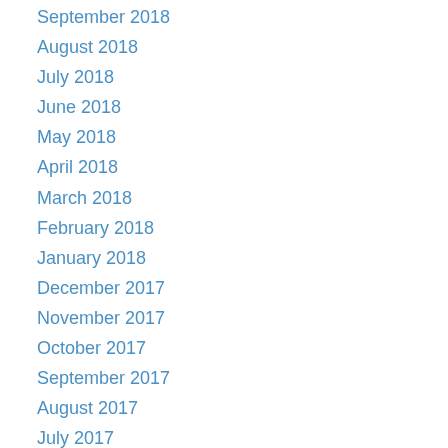September 2018
August 2018
July 2018
June 2018
May 2018
April 2018
March 2018
February 2018
January 2018
December 2017
November 2017
October 2017
September 2017
August 2017
July 2017
May 2017
April 2017
March 2017
February 2017
January 2017